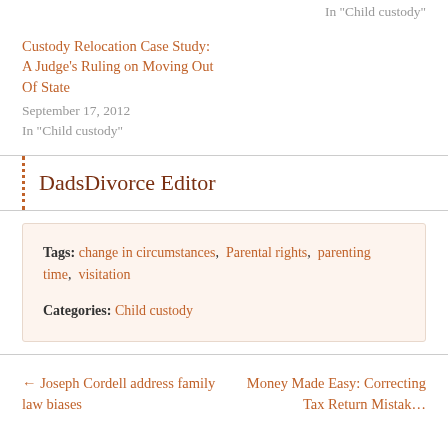In "Child custody"
Custody Relocation Case Study: A Judge's Ruling on Moving Out Of State
September 17, 2012
In "Child custody"
DadsDivorce Editor
Tags: change in circumstances, Parental rights, parenting time, visitation
Categories: Child custody
← Joseph Cordell address family law biases
Money Made Easy: Correcting Tax Return Mistak…